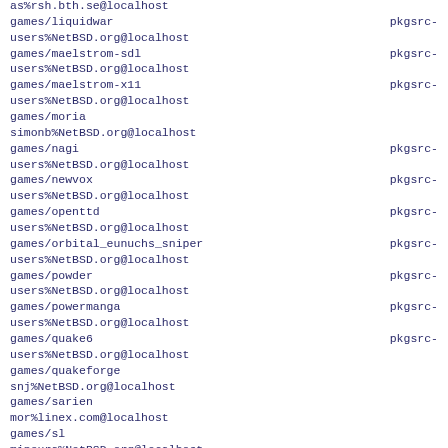as%rsh.bth.se@localhost
games/liquidwar pkgsrc-
users%NetBSD.org@localhost
games/maelstrom-sdl pkgsrc-
users%NetBSD.org@localhost
games/maelstrom-x11 pkgsrc-
users%NetBSD.org@localhost
games/moria
simonb%NetBSD.org@localhost
games/nagi pkgsrc-
users%NetBSD.org@localhost
games/newvox pkgsrc-
users%NetBSD.org@localhost
games/openttd pkgsrc-
users%NetBSD.org@localhost
games/orbital_eunuchs_sniper pkgsrc-
users%NetBSD.org@localhost
games/powder pkgsrc-
users%NetBSD.org@localhost
games/powermanga pkgsrc-
users%NetBSD.org@localhost
games/quake6 pkgsrc-
users%NetBSD.org@localhost
games/quakeforge
snj%NetBSD.org@localhost
games/sarien
mor%linex.com@localhost
games/sl
minoura%NetBSD.org@localhost
games/stockfish pkgsrc-
users%NetBSD.org@localhost